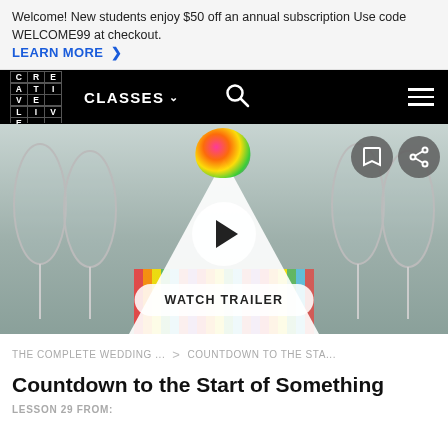Welcome! New students enjoy $50 off an annual subscription Use code WELCOME99 at checkout. LEARN MORE >
[Figure (screenshot): CreativeLive navigation bar with logo, CLASSES dropdown, search icon, and hamburger menu on black background]
[Figure (photo): Wedding scene with bride in white dress holding colorful bouquet, transparent ghost chairs on both sides, colorful striped runner on floor, play button overlay, WATCH TRAILER button, bookmark and share buttons]
THE COMPLETE WEDDING ... > COUNTDOWN TO THE STA...
Countdown to the Start of Something
LESSON 29 FROM: